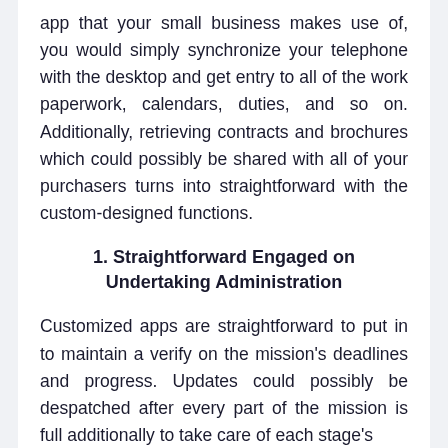app that your small business makes use of, you would simply synchronize your telephone with the desktop and get entry to all of the work paperwork, calendars, duties, and so on. Additionally, retrieving contracts and brochures which could possibly be shared with all of your purchasers turns into straightforward with the custom-designed functions.
1. Straightforward Engaged on Undertaking Administration
Customized apps are straightforward to put in to maintain a verify on the mission's deadlines and progress. Updates could possibly be despatched after every part of the mission is full additionally to take care of each stage's billing and so on.